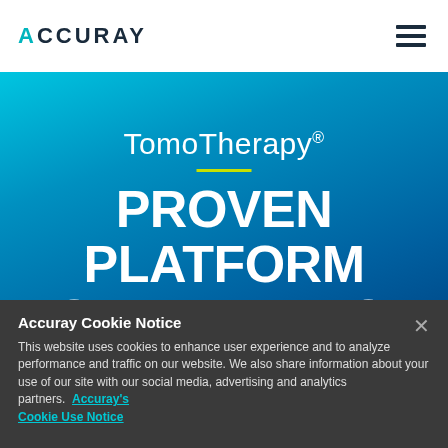ACCURAY
[Figure (screenshot): Accuray website hero banner with blue gradient background showing TomoTherapy product heading and tagline 'PROVEN PLATFORM FOR RADIATION THERAPY']
TomoTherapy®
PROVEN PLATFORM FOR RADIATION THERAPY
Accuray Cookie Notice

This website uses cookies to enhance user experience and to analyze performance and traffic on our website. We also share information about your use of our site with our social media, advertising and analytics partners. Accuray's Cookie Use Notice